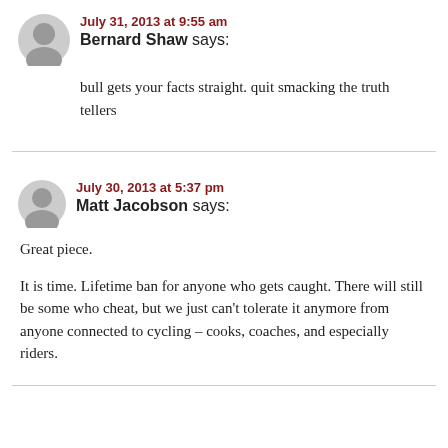July 31, 2013 at 9:55 am
Bernard Shaw says:
bull gets your facts straight. quit smacking the truth tellers
July 30, 2013 at 5:37 pm
Matt Jacobson says:
Great piece.
It is time. Lifetime ban for anyone who gets caught. There will still be some who cheat, but we just can't tolerate it anymore from anyone connected to cycling – cooks, coaches, and especially riders.